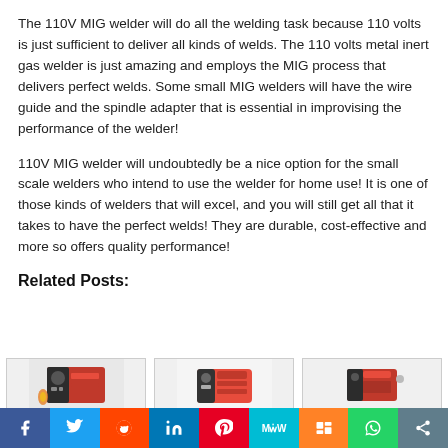The 110V MIG welder will do all the welding task because 110 volts is just sufficient to deliver all kinds of welds. The 110 volts metal inert gas welder is just amazing and employs the MIG process that delivers perfect welds. Some small MIG welders will have the wire guide and the spindle adapter that is essential in improvising the performance of the welder!
110V MIG welder will undoubtedly be a nice option for the small scale welders who intend to use the welder for home use! It is one of those kinds of welders that will excel, and you will still get all that it takes to have the perfect welds! They are durable, cost-effective and more so offers quality performance!
Related Posts:
[Figure (photo): Three thumbnail images of MIG welders shown in a row]
[Figure (infographic): Social sharing bar with icons for Facebook, Twitter, Reddit, LinkedIn, Pinterest, MeWe, Mix, WhatsApp, and share]